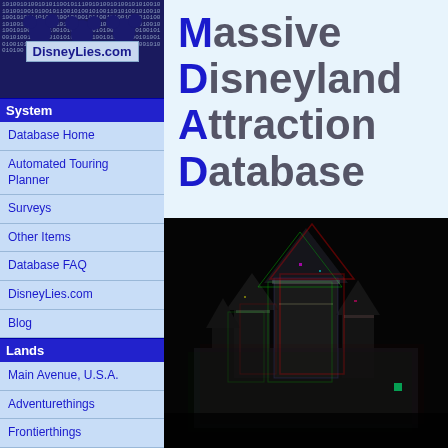[Figure (logo): DisneyLies.com logo with binary code background and stylized Mickey-ear silhouettes]
Massive Disneyland Attraction Database
System
Database Home
Automated Touring Planner
Surveys
Other Items
Database FAQ
DisneyLies.com
Blog
Lands
Main Avenue, U.S.A.
Adventurethings
Frontierthings
[Figure (photo): Colorful glitched/chromatic aberration photo of Sleeping Beauty Castle at Disneyland at night with neon color distortion effects]